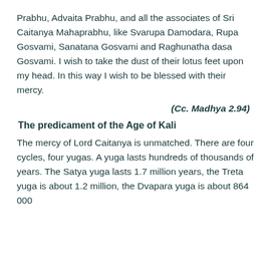Prabhu, Advaita Prabhu, and all the associates of Sri Caitanya Mahaprabhu, like Svarupa Damodara, Rupa Gosvami, Sanatana Gosvami and Raghunatha dasa Gosvami. I wish to take the dust of their lotus feet upon my head. In this way I wish to be blessed with their mercy.
(Cc. Madhya 2.94)
The predicament of the Age of Kali
The mercy of Lord Caitanya is unmatched. There are four cycles, four yugas. A yuga lasts hundreds of thousands of years. The Satya yuga lasts 1.7 million years, the Treta yuga is about 1.2 million, the Dvapara yuga is about 864 000